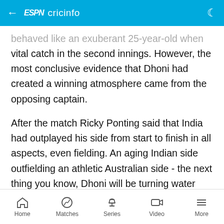ESPN cricinfo
behaved like an exuberant 25-year-old when he took a vital catch in the second innings. However, the most conclusive evidence that Dhoni had created a winning atmosphere came from the opposing captain.
After the match Ricky Ponting said that India had outplayed his side from start to finish in all aspects, even fielding. An aging Indian side outfielding an athletic Australian side - the next thing you know, Dhoni will be turning water into wine.
Home  Matches  Series  Video  More